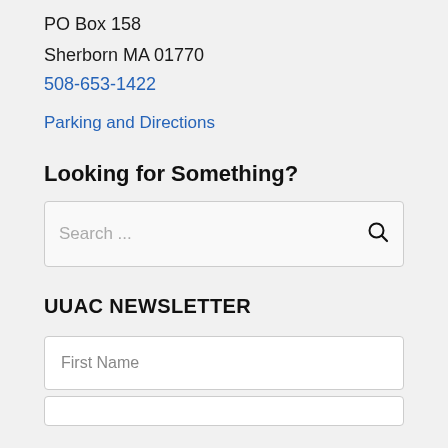PO Box 158
Sherborn MA 01770
508-653-1422
Parking and Directions
Looking for Something?
[Figure (screenshot): Search input box with placeholder text 'Search ...' and a magnifying glass icon on the right]
UUAC NEWSLETTER
[Figure (screenshot): Form input field with placeholder 'First Name']
[Figure (screenshot): Partially visible form input field at bottom of page]